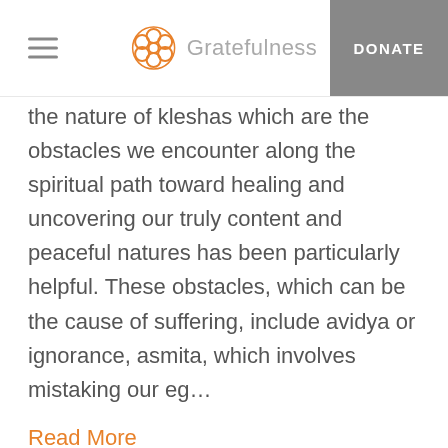Gratefulness | DONATE
the nature of kleshas which are the obstacles we encounter along the spiritual path toward healing and uncovering our truly content and peaceful natures has been particularly helpful. These obstacles, which can be the cause of suffering, include avidya or ignorance, asmita, which involves mistaking our eg…
Read More
4 ♡  |  REPLY